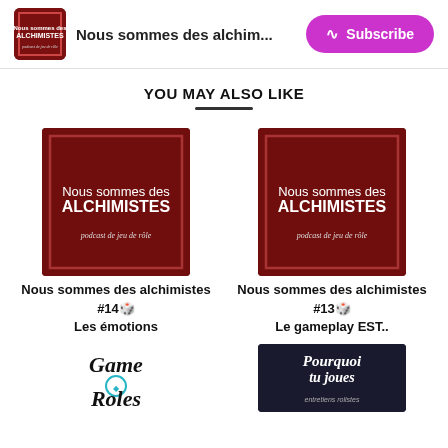Nous sommes des alchim...
YOU MAY ALSO LIKE
[Figure (photo): Podcast cover art for 'Nous sommes des ALCHIMISTES' – red background with figure, card 1]
Nous sommes des alchimistes #14 🎲 Les émotions
[Figure (logo): Game Roles podcast logo – stylized text with dice]
[Figure (photo): Podcast cover art for 'Nous sommes des ALCHIMISTES' – red background with figure, card 2]
Nous sommes des alchimistes #13 🎲 Le gameplay EST..
[Figure (photo): Pourquoi tu joues podcast cover – dark background with dice]